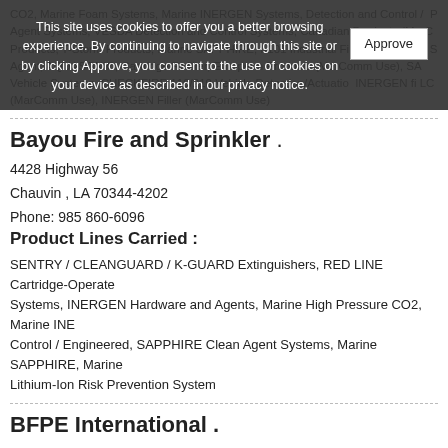CO2, Marine Foam Systems, Marine INERGEN Systems, Detection and Control / Agent Systems, VESDA Detection and Control Systems, Canadian Products (MarComm Products, T-Storm Products, Marine SAPPHIRE, I-101 Industrial Fire Suppression S Agent, AQUASONIC, Cartridge Refiller, European Products (MarComm Use), S Vehicle Systems, CHECKFIRE 110/210 Vehicle Detection/Actuatio INERGEN (MarComm Use), INERGEN Filler (MarComm Use)
This site uses cookies to offer you a better browsing experience. By continuing to navigate through this site or by clicking Approve, you consent to the use of cookies on your device as described in our privacy notice. Approve
Bayou Fire and Sprinkler .
4428 Highway 56
Chauvin , LA 70344-4202
Phone: 985 860-6096
Product Lines Carried :
SENTRY / CLEANGUARD / K-GUARD Extinguishers, RED LINE Cartridge-Operated Systems, INERGEN Hardware and Agents, Marine High Pressure CO2, Marine INE Control / Engineered, SAPPHIRE Clean Agent Systems, Marine SAPPHIRE, Marine Lithium-Ion Risk Prevention System
BFPE International .
213 Tintern Court
Chesapeake , VA 23320-4578